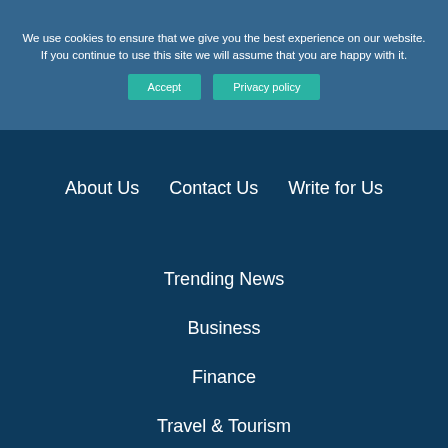We use cookies to ensure that we give you the best experience on our website. If you continue to use this site we will assume that you are happy with it.
Accept
Privacy policy
About Us
Contact Us
Write for Us
Trending News
Business
Finance
Travel & Tourism
Management